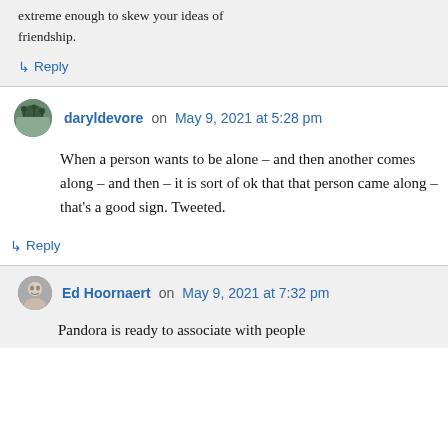extreme enough to skew your ideas of friendship.
↳ Reply
daryldevore on May 9, 2021 at 5:28 pm
When a person wants to be alone – and then another comes along – and then – it is sort of ok that that person came along – that's a good sign. Tweeted.
↳ Reply
Ed Hoornaert on May 9, 2021 at 7:32 pm
Pandora is ready to associate with people